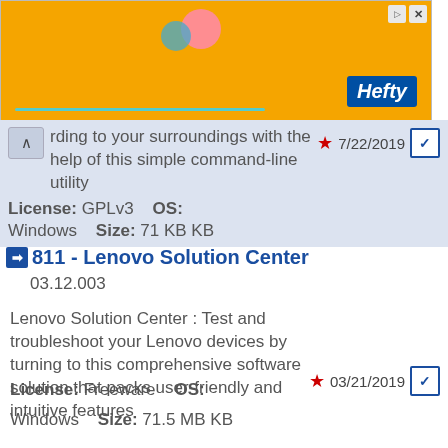[Figure (screenshot): Orange advertisement banner with Hefty logo and decorative elements]
rding to your surroundings with the help of this simple command-line utility
License: GPLv3   OS: Windows   Size: 71 KB KB
811 - Lenovo Solution Center
03.12.003
Lenovo Solution Center : Test and troubleshoot your Lenovo devices by turning to this comprehensive software solution that packs user-friendly and intuitive features
License: Freeware   OS: Windows   Size: 71.5 MB KB